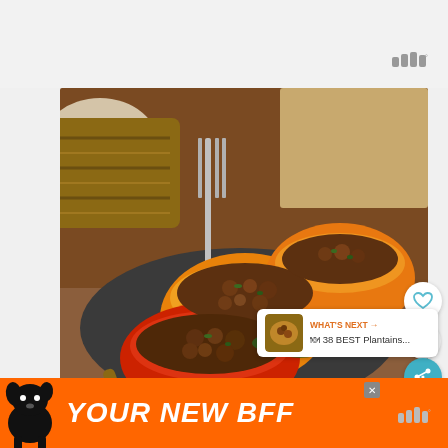[Figure (photo): Stuffed bell peppers with meat and rice filling on a dark plate, with a fork, herbs garnish, served on a wooden surface]
WHAT'S NEXT → 🍽 38 BEST Plantains...
[Figure (photo): Advertisement banner with a black dog silhouette and text 'YOUR NEW BFF' on orange background]